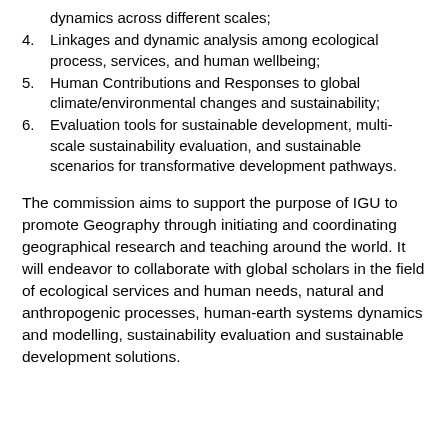dynamics across different scales;
4. Linkages and dynamic analysis among ecological process, services, and human wellbeing;
5. Human Contributions and Responses to global climate/environmental changes and sustainability;
6. Evaluation tools for sustainable development, multi-scale sustainability evaluation, and sustainable scenarios for transformative development pathways.
The commission aims to support the purpose of IGU to promote Geography through initiating and coordinating geographical research and teaching around the world. It will endeavor to collaborate with global scholars in the field of ecological services and human needs, natural and anthropogenic processes, human-earth systems dynamics and modelling, sustainability evaluation and sustainable development solutions.